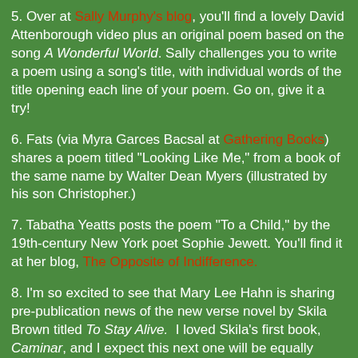5. Over at Sally Murphy's blog, you'll find a lovely David Attenborough video plus an original poem based on the song A Wonderful World. Sally challenges you to write a poem using a song's title, with individual words of the title opening each line of your poem. Go on, give it a try!
6. Fats (via Myra Garces Bacsal at Gathering Books) shares a poem titled "Looking Like Me," from a book of the same name by Walter Dean Myers (illustrated by his son Christopher.)
7. Tabatha Yeatts posts the poem "To a Child," by the 19th-century New York poet Sophie Jewett. You'll find it at her blog, The Opposite of Indifference.
8. I'm so excited to see that Mary Lee Hahn is sharing pre-publication news of the new verse novel by Skila Brown titled To Stay Alive. I loved Skila's first book, Caminar, and I expect this next one will be equally good. Go to A Year of Reading for Mary Lee's review of it (paired with a review of Nathan Hales' Hazardous Tales: Donner Dinner Party.)